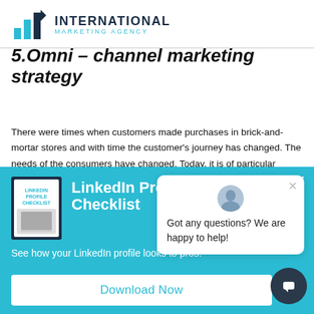[Figure (logo): International Marketing Agency logo with bar chart icon and text]
5.Omni – channel marketing strategy
There were times when customers made purchases in brick-and-mortar stores and with time the customer's journey has changed. The needs of the consumers have changed. Today, it is of particular importance that
[Figure (screenshot): Teal popup banner for LinkedIn Profile Checklist with book image, text 'See how your LinkedIn profile looks to pros.' and Download Now button. Overlaid chat bubble popup with avatar, close button, and text 'Got any questions? We are happy to help!' plus a dark chat icon button.]